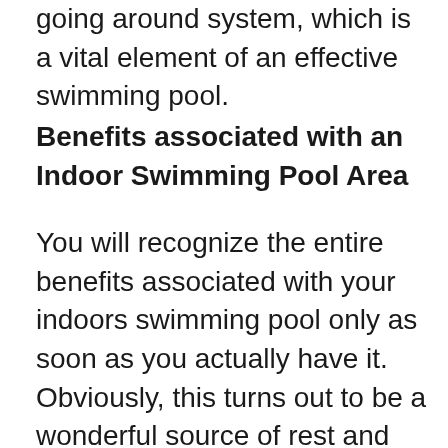going around system, which is a vital element of an effective swimming pool.
Benefits associated with an Indoor Swimming Pool Area
You will recognize the entire benefits associated with your indoors swimming pool only as soon as you actually have it. Obviously, this turns out to be a wonderful source of rest and adventure. When you really feel you will be overstressed, just a little whilst in the swimming pool really can pep you up. People do a variety of points in their swimming pools, even go through. You will understand to